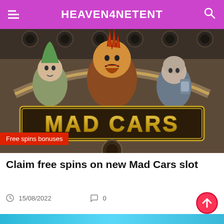HEAVEN4NETENT
[Figure (illustration): Mad Cars slot game promotional image showing three characters (punk with green hair, central villain with mohawk, bald cyborg) above a large golden 'MAD CARS' logo text on a dark metallic background]
Free spins bonuses
Claim free spins on new Mad Cars slot
15/08/2022
0